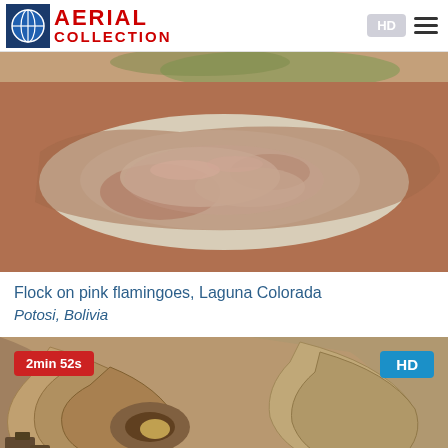AERIAL COLLECTION
[Figure (photo): Aerial view of Laguna Colorada showing pink flamingoes, salt flats and reddish lake, Potosi, Bolivia]
Flock on pink flamingoes, Laguna Colorada
Potosi, Bolivia
[Figure (photo): Aerial view of an open-pit mine with terraced spiral structure, showing tiered mining levels from above. Badge: 2min 52s, HD]